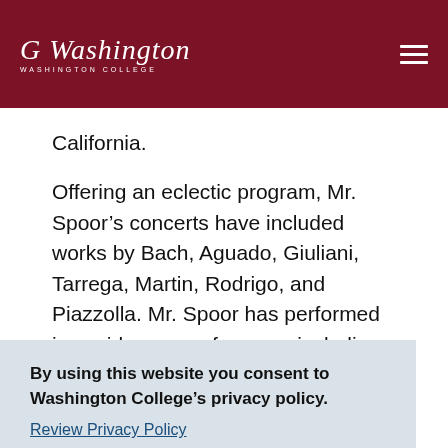Washington College
California.
Offering an eclectic program, Mr. Spoor’s concerts have included works by Bach, Aguado, Giuliani, Tarrega, Martin, Rodrigo, and Piazzolla. Mr. Spoor has performed in a wide range of venues including Chicago’s
By using this website you consent to Washington College’s privacy policy.
Review Privacy Policy
Dismiss
Church in Crystal Lake, Illinois, and